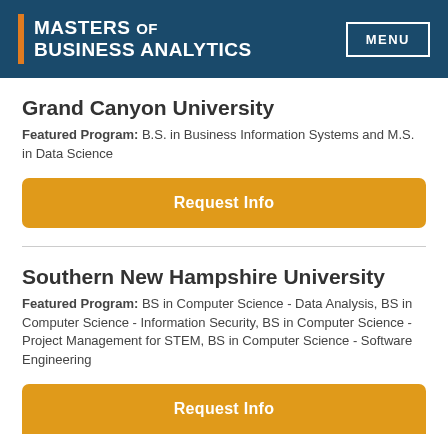MASTERS OF BUSINESS ANALYTICS | MENU
Grand Canyon University
Featured Program: B.S. in Business Information Systems and M.S. in Data Science
Request Info
Southern New Hampshire University
Featured Program: BS in Computer Science - Data Analysis, BS in Computer Science - Information Security, BS in Computer Science - Project Management for STEM, BS in Computer Science - Software Engineering
Request Info